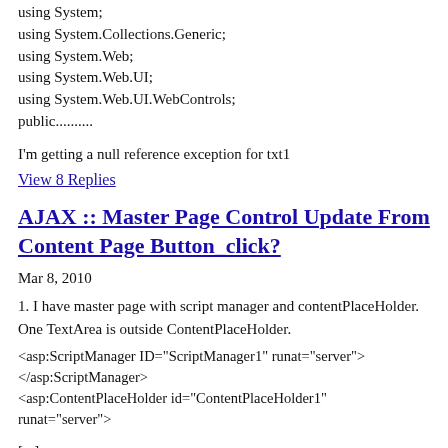using System;
using System.Collections.Generic;
using System.Web;
using System.Web.UI;
using System.Web.UI.WebControls;
public..........
I'm getting a null reference exception for txt1
View 8 Replies
AJAX :: Master Page Control Update From Content Page Button_click?
Mar 8, 2010
1. I have master page with script manager and contentPlaceHolder. One TextArea is outside ContentPlaceHolder.
<asp:ScriptManager ID="ScriptManager1" runat="server">
</asp:ScriptManager>
<asp:ContentPlaceHolder id="ContentPlaceHolder1"
runat="server">
[...]